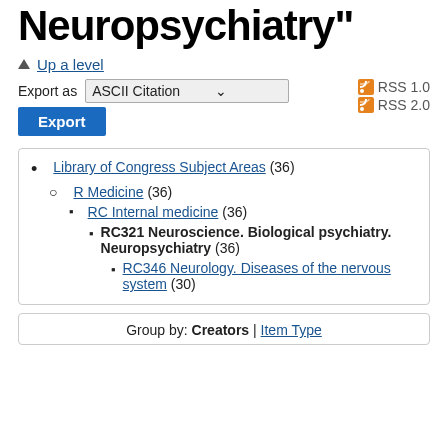Neuropsychiatry"
▲ Up a level
Export as  ASCII Citation   RSS 1.0  RSS 2.0  Export
Library of Congress Subject Areas (36)
R Medicine (36)
RC Internal medicine (36)
RC321 Neuroscience. Biological psychiatry. Neuropsychiatry (36)
RC346 Neurology. Diseases of the nervous system (30)
Group by: Creators | Item Type